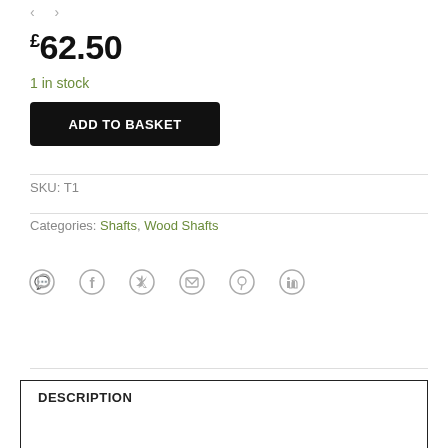< >
£62.50
1 in stock
ADD TO BASKET
SKU: T1
Categories: Shafts, Wood Shafts
[Figure (other): Social sharing icons: WhatsApp, Facebook, Twitter, Email, Pinterest, LinkedIn]
DESCRIPTION